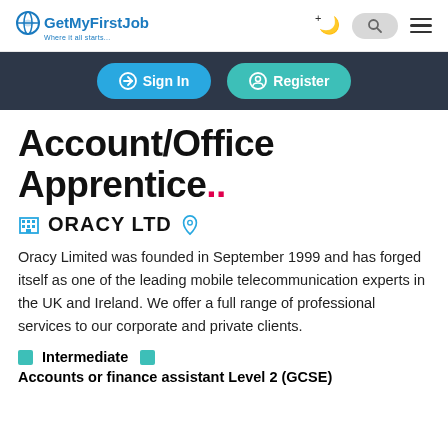GetMyFirstJob — Where it all starts.
Sign In  Register
Account/Office Apprentice..
🏢 ORACY LTD 📍
Oracy Limited was founded in September 1999 and has forged itself as one of the leading mobile telecommunication experts in the UK and Ireland. We offer a full range of professional services to our corporate and private clients.
■ Intermediate  ■ Accounts or finance assistant Level 2 (GCSE)